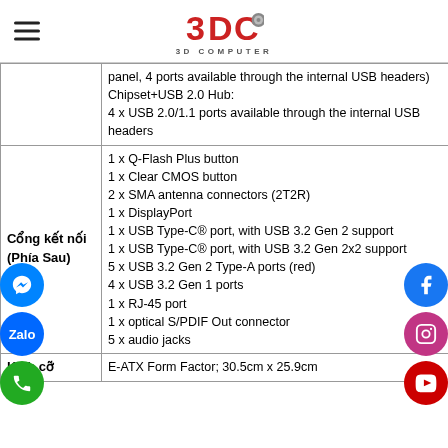3DC 3D Computer logo with hamburger menu
|  |  |
| --- | --- |
|  | panel, 4 ports available through the internal USB headers)
Chipset+USB 2.0 Hub:
4 x USB 2.0/1.1 ports available through the internal USB headers |
| Cổng kết nối (Phía Sau) | 1 x Q-Flash Plus button
1 x Clear CMOS button
2 x SMA antenna connectors (2T2R)
1 x DisplayPort
1 x USB Type-C® port, with USB 3.2 Gen 2 support
1 x USB Type-C® port, with USB 3.2 Gen 2x2 support
5 x USB 3.2 Gen 2 Type-A ports (red)
4 x USB 3.2 Gen 1 ports
1 x RJ-45 port
1 x optical S/PDIF Out connector
5 x audio jacks |
| Kích cỡ | E-ATX Form Factor; 30.5cm x 25.9cm |